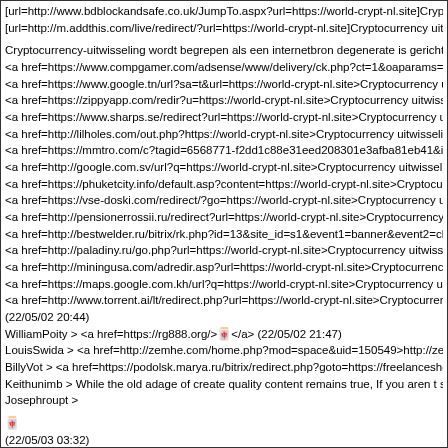[url=http://www.bdblockandsafe.co.uk/JumpTo.aspx?url=https://world-crypt-nl.site]Crypto
[url=http://m.addthis.com/live/redirect/?url=https://world-crypt-nl.site]Cryptocurrency uitw
Cryptocurrency-uitwisseling wordt begrepen als een internetbron degenerate is gericht op d
<a href=https://www.compgamer.com/adsense/www/delivery/ck.php?ct=1&oaparams=2_
<a href=https://www.google.tn/url?sa=t&url=https://world-crypt-nl.site>Cryptocurrency ui
<a href=https://zippyapp.com/redir?u=https://world-crypt-nl.site>Cryptocurrency uitwissel
<a href=https://www.sharps.se/redirect?url=https://world-crypt-nl.site>Cryptocurrency uitw
<a href=http://lilholes.com/out.php?https://world-crypt-nl.site>Cryptocurrency uitwisseling
<a href=https://mmtro.com/c?tagid=6568771-f2dd1c88e31eed208301e3afba81eb41&idc=9
<a href=http://google.com.sv/url?q=https://world-crypt-nl.site>Cryptocurrency uitwisseling
<a href=https://phuketcity.info/default.asp?content=https://world-crypt-nl.site>Cryptocurre
<a href=https://vse-doski.com/redirect/?go=https://world-crypt-nl.site>Cryptocurrency uitv
<a href=http://pensionerrossii.ru/redirect?url=https://world-crypt-nl.site>Cryptocurrency ui
<a href=http://bestwelder.ru/bitrix/rk.php?id=13&site_id=s1&event1=banner&event2=clic
<a href=http://paladiny.ru/go.php?url=https://world-crypt-nl.site>Cryptocurrency uitwissel
<a href=http://miningusa.com/adredir.asp?url=https://world-crypt-nl.site>Cryptocurrency u
<a href=https://maps.google.com.kh/url?q=https://world-crypt-nl.site>Cryptocurrency uitw
<a href=http://www.torrent.ai/lt/redirect.php?url=https://world-crypt-nl.site>Cryptocurrenc
(22/05/02 20:44)
WilliamPoity > <a href=https://rg888.org/>🀄</a> (22/05/02 21:47)
LouisSwida > <a href=http://zemhe.com/home.php?mod=space&uid=150549>http://zemhe
BillyVot > <a href=https://podolsk.marya.ru/bitrix/redirect.php?goto=https://freelanceshop.
Keithunimb > While the old adage of create quality content remains true, If you aren t sure
Josephroupt >
🀄
(22/05/03 03:32)
WilliamPoity > <a href=https://rg888.org/>🀄</a> (22/05/03 03:32)
LouisSwida > <a href=https://enu.kz:443/go.php?url=freelanceshop.org>https://enu.kz:44